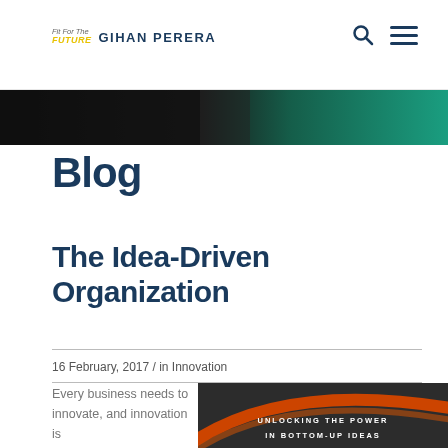Fit For The Future | Gihan Perera
[Figure (photo): Dark hero banner with teal/green gradient, appears to be a close-up abstract image]
Blog
The Idea-Driven Organization
16 February, 2017 / in Innovation
Every business needs to innovate, and innovation is
[Figure (photo): Book cover with dark background, orange arc, text: UNLOCKING THE POWER IN BOTTOM-UP IDEAS]